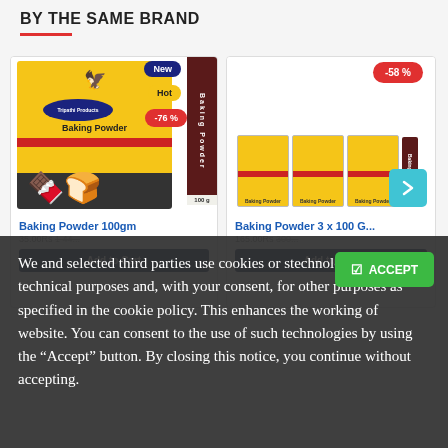BY THE SAME BRAND
[Figure (photo): Product card for Baking Powder 100gm with New, Hot, and -76% badges, showing yellow/red branded box and side chocolate strip]
[Figure (photo): Product card for Baking Powder 3 x 100G with -58% badge, showing three mini boxes and a side strip, with arrow navigation button]
Baking Powder 100gm
Baking Powder 3 x 100 G...
Add to Cart
Add to Cart
We and selected third parties use cookies or similar technologies for technical purposes and, with your consent, for other purposes as specified in the cookie policy. This enhances the working of website. You can consent to the use of such technologies by using the “Accept” button. By closing this notice, you continue without accepting.